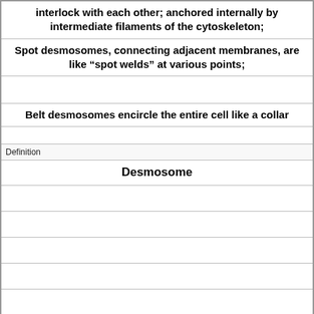interlock with each other; anchored internally by intermediate filaments of the cytoskeleton;
Spot desmosomes, connecting adjacent membranes, are like “spot welds” at various points;
Belt desmosomes encircle the entire cell like a collar
Definition
Desmosome
Term